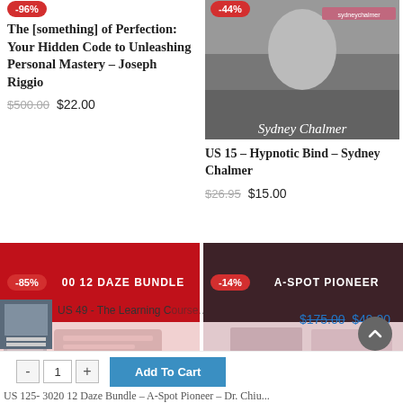-96% The [something] of Perfection: Your Hidden Code to Unleashing Personal Mastery – Joseph Riggio
$500.00 $22.00
[Figure (photo): Black and white photo of Sydney Chalmer with -44% badge and text overlay 'Sydney Chalmer']
US 15 – Hypnotic Bind – Sydney Chalmer
$26.95 $15.00
[Figure (photo): Red banner card with -85% badge and text '00 12 DAZE BUNDLE', lower section shows learning materials]
[Figure (photo): Dark maroon banner card with -14% badge and text 'A-SPOT PIONEER', lower section]
US 49 - The Learning C[ourse...]
$175.00 $49.00
- 1 + Add To Cart
US 125- 3020 12 Daze Bundle – A-Spot Pioneer – Dr. Chiu...